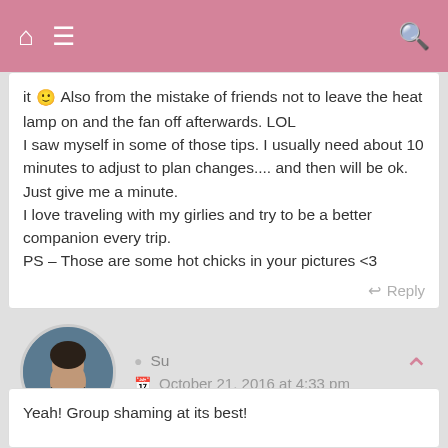Navigation bar with home, menu, and search icons
it 🙂 Also from the mistake of friends not to leave the heat lamp on and the fan off afterwards. LOL
I saw myself in some of those tips. I usually need about 10 minutes to adjust to plan changes.... and then will be ok. Just give me a minute.
I love traveling with my girlies and try to be a better companion every trip.
PS – Those are some hot chicks in your pictures <3
Reply
[Figure (photo): Circular avatar photo of user Su, showing a woman in a dark jacket with a wintry outdoor background]
Su
October 21, 2016 at 4:33 pm
Yeah! Group shaming at its best!